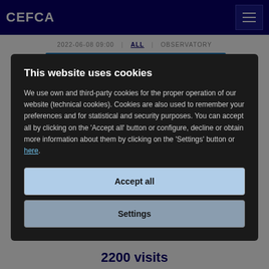CEFCA
2022-06-08 09:00   ALL   OBSERVATORY
This website uses cookies
We use own and third-party cookies for the proper operation of our website (technical cookies). Cookies are also used to remember your preferences and for statistical and security purposes. You can accept all by clicking on the 'Accept all' button or configure, decline or obtain more information about them by clicking on the 'Settings' button or here.
Accept all
Settings
2200 visits